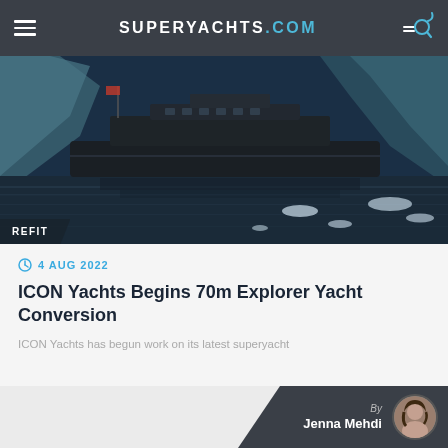SUPERYACHTS.COM
[Figure (photo): A dark explorer superyacht navigating icy arctic waters with glaciers and floating ice in the background. A REFIT badge appears in the lower left corner of the image.]
4 AUG 2022
ICON Yachts Begins 70m Explorer Yacht Conversion
ICON Yachts has begun work on its latest superyacht
By Jenna Mehdi